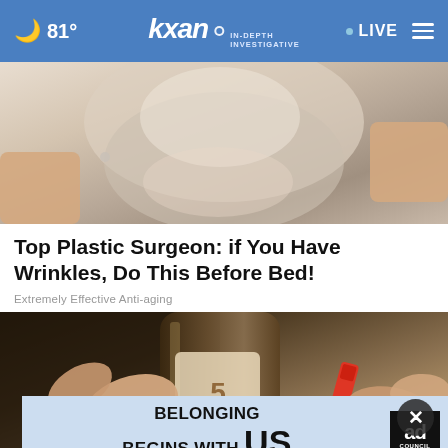☁ 81° | kxan IN-DEPTH INVESTIGATIVE | LIVE
[Figure (photo): Close-up photo of a woman's face/jaw area with skin treatment being applied]
Top Plastic Surgeon: if You Have Wrinkles, Do This Before Bed!
Extremely Effective Anti-aging
[Figure (photo): Hands holding a Crayola crayon near a glass bottle, close-up advertisement image]
[Figure (infographic): Ad Council banner: BELONGING BEGINS WITH US]